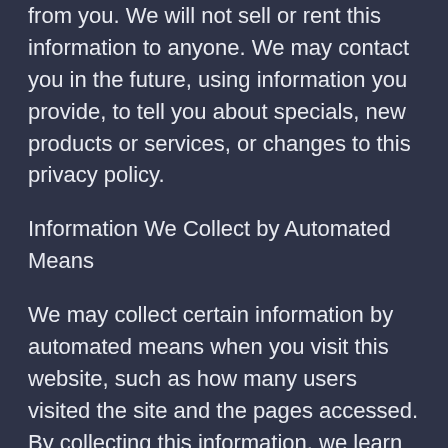from you. We will not sell or rent this information to anyone. We may contact you in the future, using information you provide, to tell you about specials, new products or services, or changes to this privacy policy.
Information We Collect by Automated Means
We may collect certain information by automated means when you visit this website, such as how many users visited the site and the pages accessed. By collecting this information, we learn how to best tailor our websites to our visitors. We collect this information through "cookies" and IP addresses.